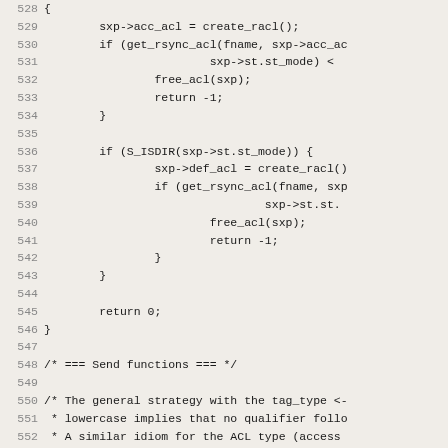[Figure (screenshot): Source code listing showing C code lines 528-559 with line numbers. Code includes ACL-related functions with get_rsync_acl, create_racl, free_acl calls, S_ISDIR check, return statements, and comments about Send functions and general strategy with tag_type.]